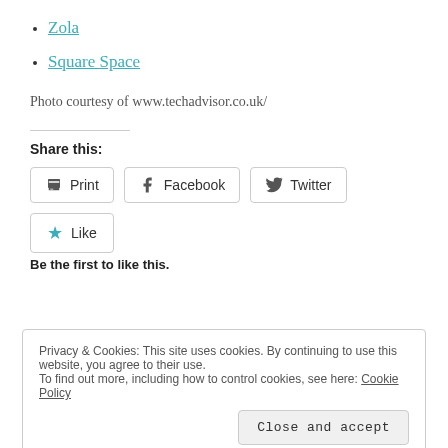Zola
Square Space
Photo courtesy of www.techadvisor.co.uk/
Share this:
[Figure (other): Share buttons: Print, Facebook, Twitter]
[Figure (other): Like button with star icon]
Be the first to like this.
Privacy & Cookies: This site uses cookies. By continuing to use this website, you agree to their use. To find out more, including how to control cookies, see here: Cookie Policy
Close and accept